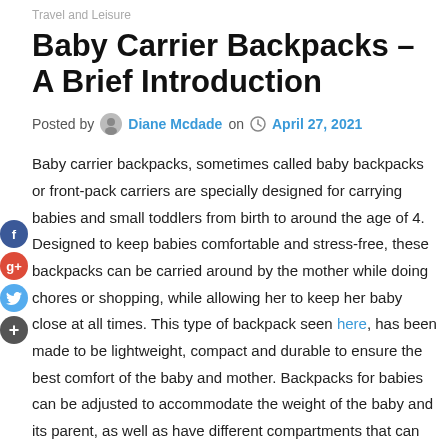Travel and Leisure
Baby Carrier Backpacks – A Brief Introduction
Posted by Diane Mcdade on April 27, 2021
Baby carrier backpacks, sometimes called baby backpacks or front-pack carriers are specially designed for carrying babies and small toddlers from birth to around the age of 4. Designed to keep babies comfortable and stress-free, these backpacks can be carried around by the mother while doing chores or shopping, while allowing her to keep her baby close at all times. This type of backpack seen here, has been made to be lightweight, compact and durable to ensure the best comfort of the baby and mother. Backpacks for babies can be adjusted to accommodate the weight of the baby and its parent, as well as have different compartments that can be used for storage